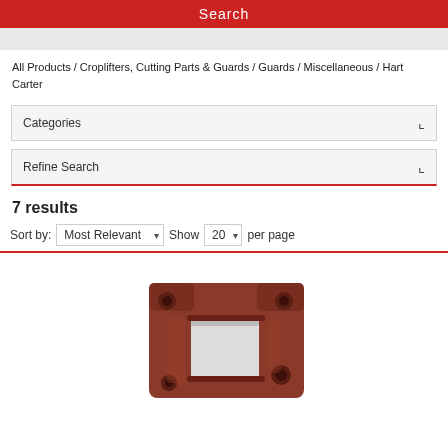Search
All Products / Croplifters, Cutting Parts & Guards / Guards / Miscellaneous / Hart Carter
Categories
Refine Search
7 results
Sort by: Most Relevant  Show 20 per page
[Figure (photo): Brown metal guard part / bracket component for agricultural equipment (Hart Carter product)]